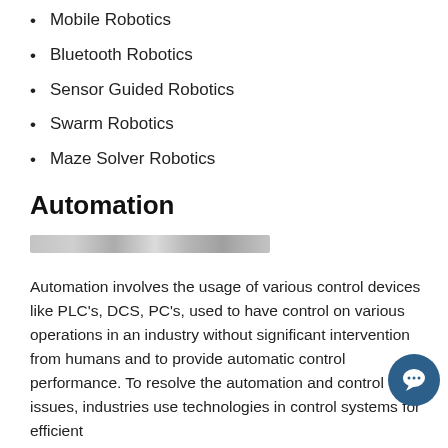Mobile Robotics
Bluetooth Robotics
Sensor Guided Robotics
Swarm Robotics
Maze Solver Robotics
Automation
[Figure (photo): A blurred/redacted horizontal image strip related to automation]
Automation involves the usage of various control devices like PLC's, DCS, PC's, used to have control on various operations in an industry without significant intervention from humans and to provide automatic control performance. To resolve the automation and control issues, industries use technologies in control systems for efficient